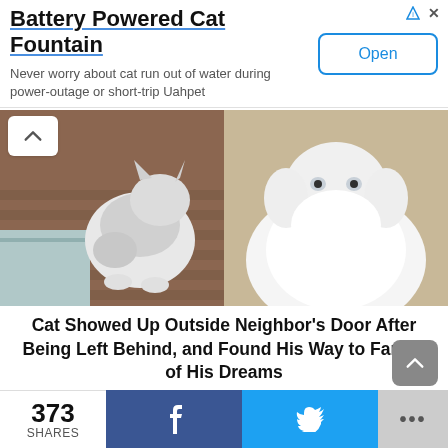[Figure (other): Advertisement banner: Battery Powered Cat Fountain with Open button]
[Figure (photo): Two photos of fluffy cats side by side: left shows a gray and white fluffy cat on a wooden deck near a door, right shows a white fluffy Persian-type cat facing the camera]
Cat Showed Up Outside Neighbor’s Door After Being Left Behind, and Found His Way to Family of His Dreams
Advertisement
373 SHARES